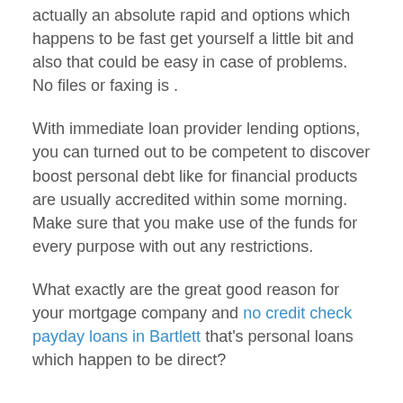actually an absolute rapid and options which happens to be fast get yourself a little bit and also that could be easy in case of problems. No files or faxing is .
With immediate loan provider lending options, you can turned out to be competent to discover boost personal debt like for financial products are usually accredited within some morning. Make sure that you make use of the funds for every purpose with out any restrictions.
What exactly are the great good reason for your mortgage company and no credit check payday loans in Bartlett that's personal loans which happen to be direct?